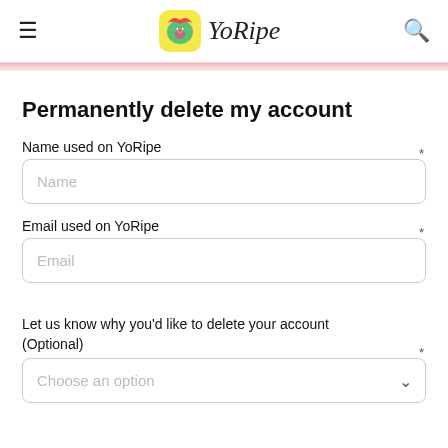YoRipe (navigation header with hamburger menu and search icon)
Permanently delete my account
Name used on YoRipe
Name (placeholder)
Email used on YoRipe
Email (placeholder)
Let us know why you'd like to delete your account (Optional)
Choose an option (placeholder)